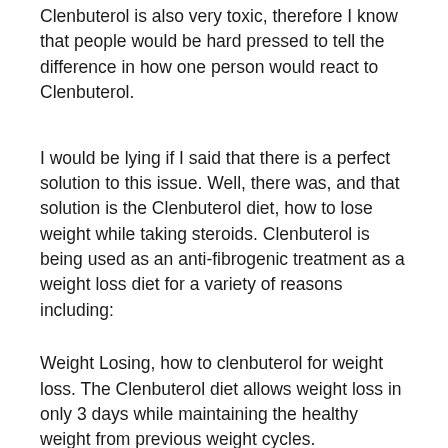Clenbuterol is also very toxic, therefore I know that people would be hard pressed to tell the difference in how one person would react to Clenbuterol.
I would be lying if I said that there is a perfect solution to this issue. Well, there was, and that solution is the Clenbuterol diet, how to lose weight while taking steroids. Clenbuterol is being used as an anti-fibrogenic treatment as a weight loss diet for a variety of reasons including:
Weight Losing, how to clenbuterol for weight loss. The Clenbuterol diet allows weight loss in only 3 days while maintaining the healthy weight from previous weight cycles.
Clenbuterol liquid for weight loss